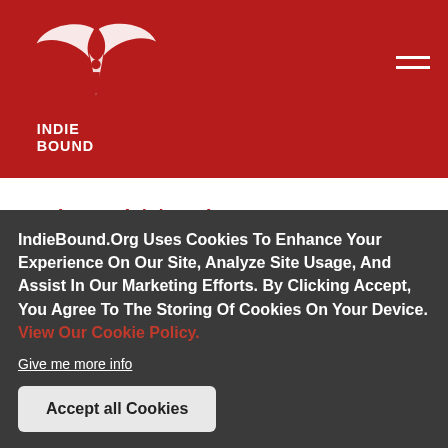IndieBound logo and navigation header
Hardcover (8/7/2018)
Library Binding, Large Print (2/10/2019)
Buy at Local Store
We think you're in Ashburn, VA. If that's not right,
IndieBound.Org Uses Cookies To Enhance Your Experience On Our Site, Analyze Site Usage, And Assist In Our Marketing Efforts. By Clicking Accept, You Agree To The Storing Of Cookies On Your Device. View Our Cookie Policy.
Give me more info
Accept all Cookies